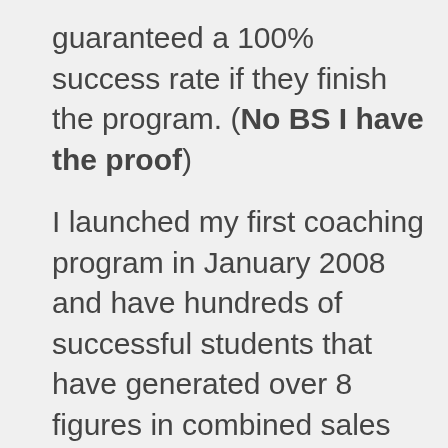guaranteed a 100% success rate if they finish the program. (No BS I have the proof)
I launched my first coaching program in January 2008 and have hundreds of successful students that have generated over 8 figures in combined sales